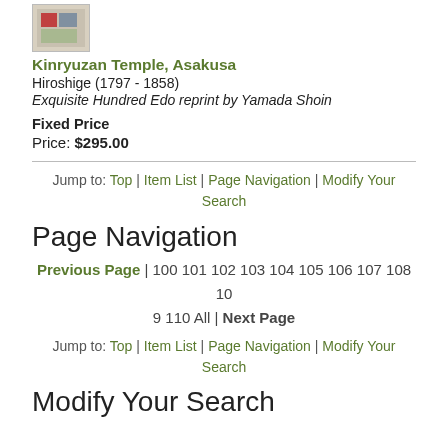[Figure (photo): Small thumbnail image of a Japanese woodblock print]
Kinryuzan Temple, Asakusa
Hiroshige (1797 - 1858)
Exquisite Hundred Edo reprint by Yamada Shoin
Fixed Price
Price: $295.00
Jump to: Top | Item List | Page Navigation | Modify Your Search
Page Navigation
Previous Page | 100 101 102 103 104 105 106 107 108 109 110 All | Next Page
Jump to: Top | Item List | Page Navigation | Modify Your Search
Modify Your Search